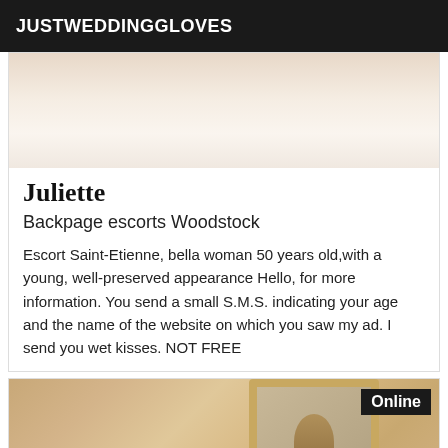JUSTWEDDINGGLOVES
[Figure (photo): Top portion of a person photo, mostly washed out light tones]
Juliette
Backpage escorts Woodstock
Escort Saint-Etienne, bella woman 50 years old,with a young, well-preserved appearance Hello, for more information. You send a small S.M.S. indicating your age and the name of the website on which you saw my ad. I send you wet kisses. NOT FREE
[Figure (photo): Woman near ornate gold mirror frame, with Online badge overlay]